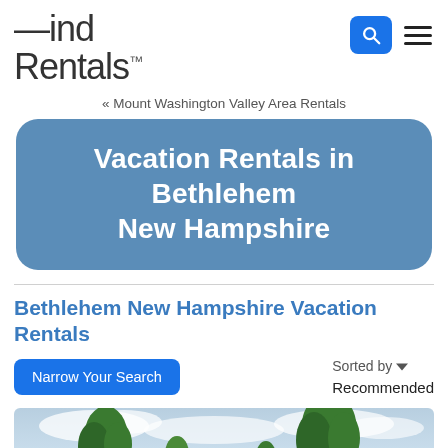Find Rentals
« Mount Washington Valley Area Rentals
Vacation Rentals in Bethlehem New Hampshire
Bethlehem New Hampshire Vacation Rentals
Narrow Your Search
Sorted by ▼ Recommended
[Figure (photo): Outdoor photo showing green trees against a partly cloudy blue-grey sky, likely a scenic New Hampshire landscape.]